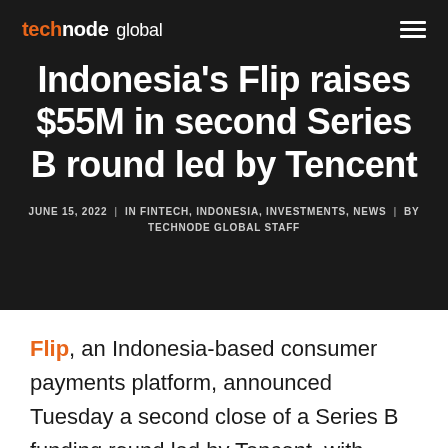technode global
Indonesia's Flip raises $55M in second Series B round led by Tencent
JUNE 15, 2022  |  IN FINTECH, INDONESIA, INVESTMENTS, NEWS  |  BY TECHNODE GLOBAL STAFF
Flip, an Indonesia-based consumer payments platform, announced Tuesday a second close of a Series B funding round led by Tencent, with